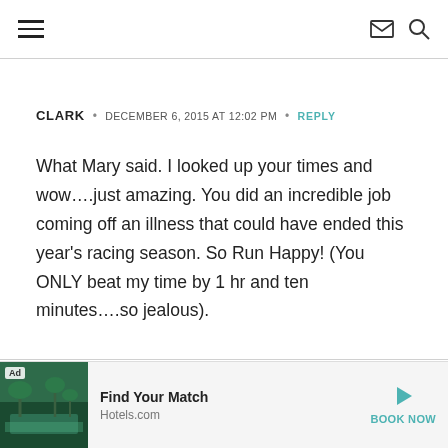≡  ✉ 🔍
CLARK  •  DECEMBER 6, 2015 AT 12:02 PM  •  REPLY
What Mary said. I looked up your times and wow….just amazing. You did an incredible job coming off an illness that could have ended this year's racing season. So Run Happy! (You ONLY beat my time by 1 hr and ten minutes….so jealous).
[Figure (photo): Advertisement banner for Hotels.com showing a tropical pool with palm trees, labeled 'Ad', with text 'Find Your Match', 'Hotels.com', and a 'BOOK NOW' button]